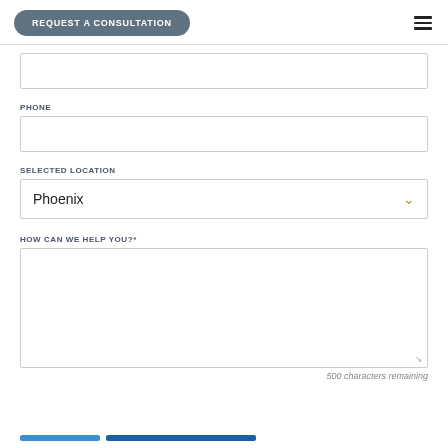REQUEST A CONSULTATION
PHONE
SELECTED LOCATION
Phoenix
HOW CAN WE HELP YOU?*
500 characters remaining